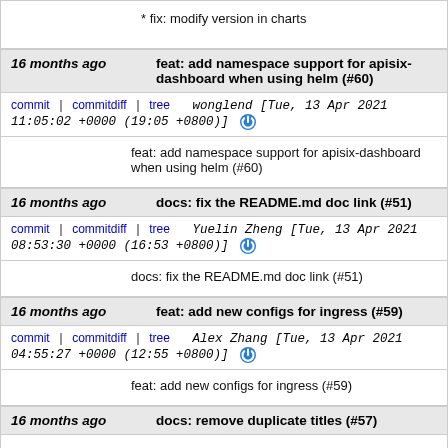* fix: modify version in charts
16 months ago   feat: add namespace support for apisix-dashboard when using helm (#60)
commit | commitdiff | tree   wonglend [Tue, 13 Apr 2021 11:05:02 +0000 (19:05 +0800)]
feat: add namespace support for apisix-dashboard when using helm (#60)
16 months ago   docs: fix the README.md doc link (#51)
commit | commitdiff | tree   Yuelin Zheng [Tue, 13 Apr 2021 08:53:30 +0000 (16:53 +0800)]
docs: fix the README.md doc link (#51)
16 months ago   feat: add new configs for ingress (#59)
commit | commitdiff | tree   Alex Zhang [Tue, 13 Apr 2021 04:55:27 +0000 (12:55 +0800)]
feat: add new configs for ingress (#59)
16 months ago   docs: remove duplicate titles (#57)